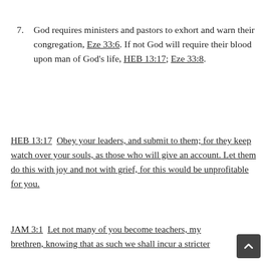7. God requires ministers and pastors to exhort and warn their congregation, Eze 33:6. If not God will require their blood upon man of God's life, HEB 13:17; Eze 33:8.
HEB 13:17  Obey your leaders, and submit to them; for they keep watch over your souls, as those who will give an account. Let them do this with joy and not with grief, for this would be unprofitable for you.
JAM 3:1  Let not many of you become teachers, my brethren, knowing that as such we shall incur a stricter